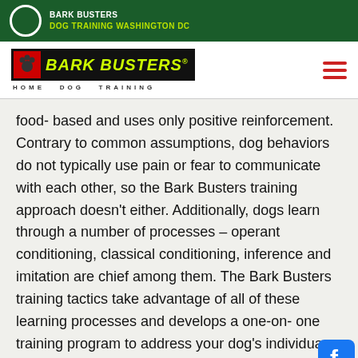BARK BUSTERS DOG TRAINING WASHINGTON DC
[Figure (logo): Bark Busters Home Dog Training logo with paw print icon]
food- based and uses only positive reinforcement. Contrary to common assumptions, dog behaviors do not typically use pain or fear to communicate with each other, so the Bark Busters training approach doesn't either. Additionally, dogs learn through a number of processes – operant conditioning, classical conditioning, inference and imitation are chief among them. The Bark Busters training tactics take advantage of all of these learning processes and develops a one-on- one training program to address your dog's individua needs.